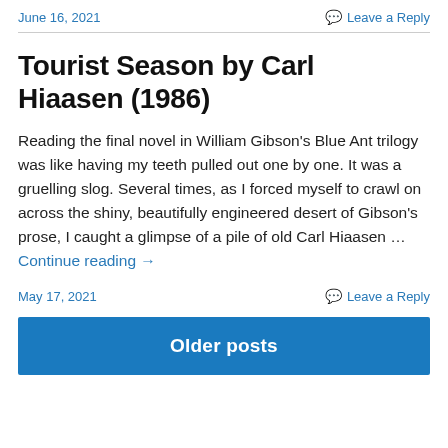June 16, 2021
Leave a Reply
Tourist Season by Carl Hiaasen (1986)
Reading the final novel in William Gibson's Blue Ant trilogy was like having my teeth pulled out one by one. It was a gruelling slog. Several times, as I forced myself to crawl on across the shiny, beautifully engineered desert of Gibson's prose, I caught a glimpse of a pile of old Carl Hiaasen … Continue reading →
May 17, 2021
Leave a Reply
Older posts